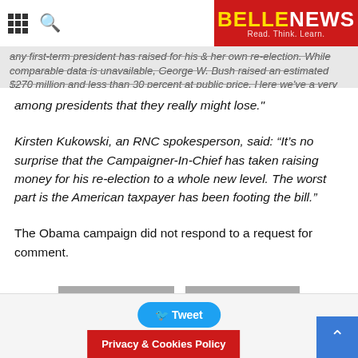BELLENEWS - Read. Think. Learn.
among presidents that they really might lose."
Kirsten Kukowski, an RNC spokesperson, said: “It’s no surprise that the Campaigner-In-Chief has taken raising money for his re-election to a whole new level. The worst part is the American taxpayer has been footing the bill.”
The Obama campaign did not respond to a request for comment.
Brendan J. Doherty
campaign activities
Tweet
Privacy & Cookies Policy